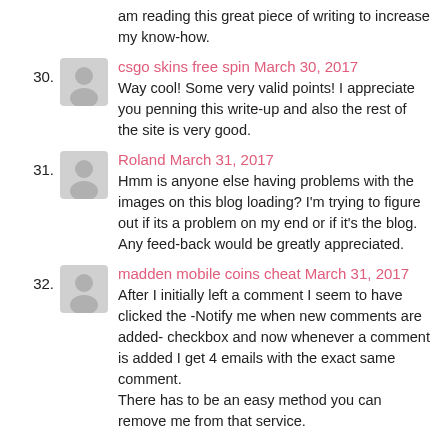am reading this great piece of writing to increase my know-how.
30. csgo skins free spin March 30, 2017
Way cool! Some very valid points! I appreciate you penning this write-up and also the rest of the site is very good.
31. Roland March 31, 2017
Hmm is anyone else having problems with the images on this blog loading? I'm trying to figure out if its a problem on my end or if it's the blog.
Any feed-back would be greatly appreciated.
32. madden mobile coins cheat March 31, 2017
After I initially left a comment I seem to have clicked the -Notify me when new comments are added- checkbox and now whenever a comment is added I get 4 emails with the exact same comment.
There has to be an easy method you can remove me from that service.